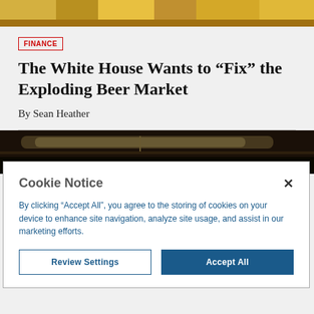[Figure (photo): Top strip showing store shelves with colorful product packaging]
FINANCE
The White House Wants to “Fix” the Exploding Beer Market
By Sean Heather
[Figure (photo): Dark photo of store refrigerated shelving/display with overhead lighting]
Cookie Notice
By clicking “Accept All”, you agree to the storing of cookies on your device to enhance site navigation, analyze site usage, and assist in our marketing efforts.